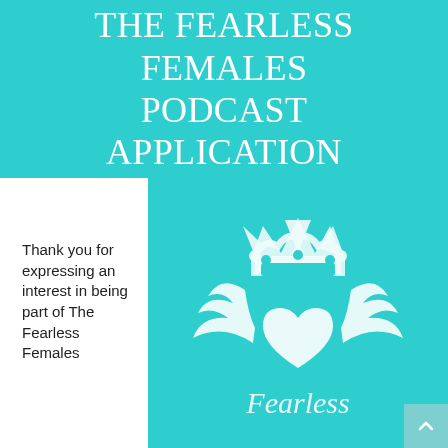THE FEARLESS FEMALES PODCAST APPLICATION
Thank you for expressing an interest in being part of The Fearless Females
[Figure (logo): Fearless Females logo on teal background: a white heart with wings and a crown above it, with the word Fearless in script below, on a teal/turquoise background]